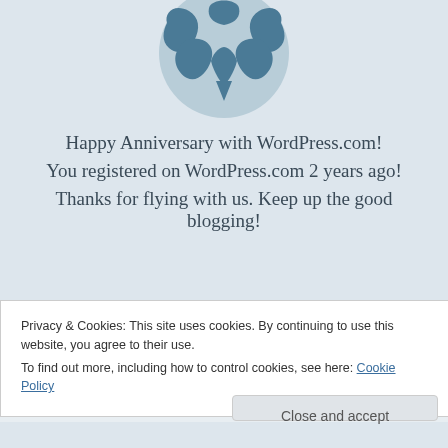[Figure (logo): WordPress.com logo - circular blue badge with stylized W and leaf/plant design]
Happy Anniversary with WordPress.com!
You registered on WordPress.com 2 years ago!
Thanks for flying with us. Keep up the good blogging!
Privacy & Cookies: This site uses cookies. By continuing to use this website, you agree to their use.
To find out more, including how to control cookies, see here: Cookie Policy
Close and accept